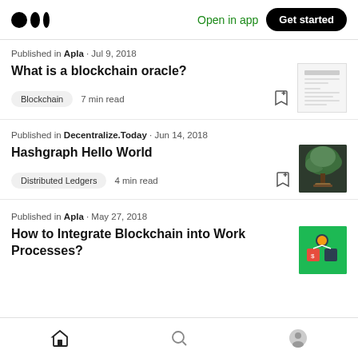Medium logo | Open in app | Get started
Published in Apla · Jul 9, 2018
What is a blockchain oracle?
Blockchain  7 min read
Published in Decentralize.Today · Jun 14, 2018
Hashgraph Hello World
Distributed Ledgers  4 min read
Published in Apla · May 27, 2018
How to Integrate Blockchain into Work Processes?